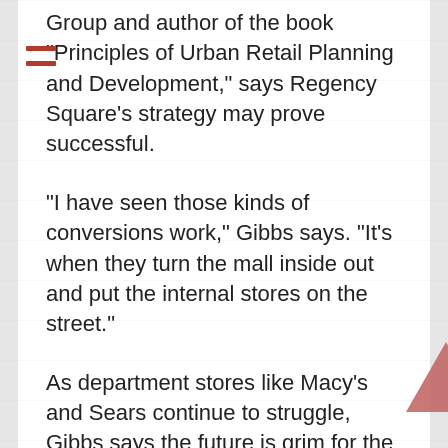Group and author of the book “Principles of Urban Retail Planning and Development,” says Regency Square’s strategy may prove successful.
“I have seen those kinds of conversions work,” Gibbs says. “It’s when they turn the mall inside out and put the internal stores on the street.”
As department stores like Macy’s and Sears continue to struggle, Gibbs says the future is grim for the majority of America’s suburban malls.
“There’s about 2,000 of them, and we